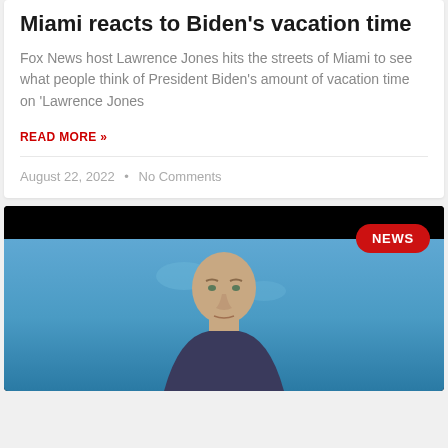Miami reacts to Biden's vacation time
Fox News host Lawrence Jones hits the streets of Miami to see what people think of President Biden's amount of vacation time on 'Lawrence Jones
READ MORE »
August 22, 2022 • No Comments
[Figure (photo): Photo of a bald man against a blue cloudy sky background with a red NEWS badge in the top right corner]